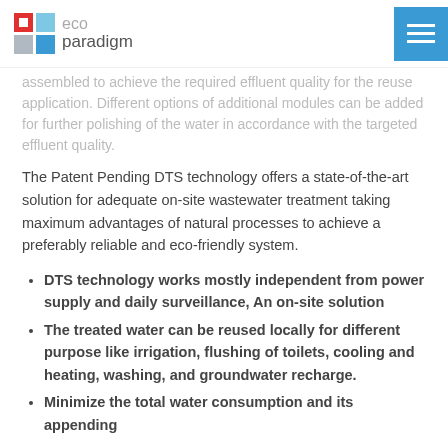eco paradigm
assembled to achieve the required effluent quality for the reuse application. Different options of additional modules can be added for further polishing of the water in accordance with the targeted effluent quality.
The Patent Pending DTS technology offers a state-of-the-art solution for adequate on-site wastewater treatment taking maximum advantages of natural processes to achieve a preferably reliable and eco-friendly system.
DTS technology works mostly independent from power supply and daily surveillance, An on-site solution
The treated water can be reused locally for different purpose like irrigation, flushing of toilets, cooling and heating, washing, and groundwater recharge.
Minimize the total water consumption and its appending